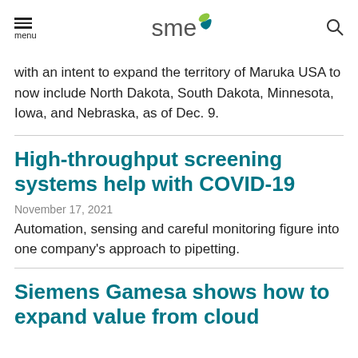menu [SME logo] [search icon]
with an intent to expand the territory of Maruka USA to now include North Dakota, South Dakota, Minnesota, Iowa, and Nebraska, as of Dec. 9.
High-throughput screening systems help with COVID-19
November 17, 2021
Automation, sensing and careful monitoring figure into one company's approach to pipetting.
Siemens Gamesa shows how to expand value from cloud